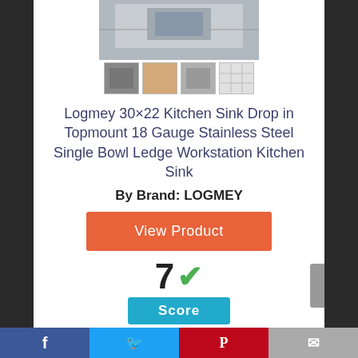[Figure (photo): Product photo of Logmey kitchen sink, main image plus 4 thumbnail variants]
Logmey 30×22 Kitchen Sink Drop in Topmount 18 Gauge Stainless Steel Single Bowl Ledge Workstation Kitchen Sink
By Brand: LOGMEY
View Product
7 ✓ Score
Facebook  Twitter  Pinterest  Mail